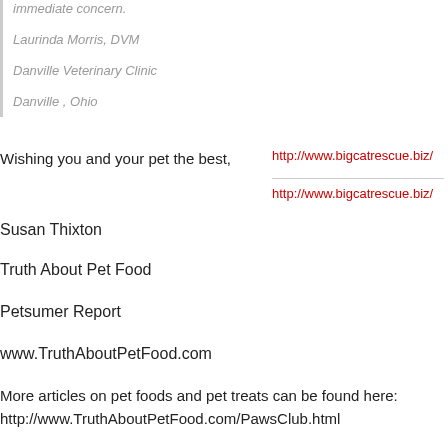immediate concern.
Laurinda Morris, DVM
Danville Veterinary Clinic
Danville , Ohio
Wishing you and your pet the best,
http://www.bigcatrescue.biz/
http://www.bigcatrescue.biz/
Susan Thixton
Truth About Pet Food
Petsumer Report
www.TruthAboutPetFood.com
More articles on pet foods and pet treats can be found here: http://www.TruthAboutPetFood.com/PawsClub.html